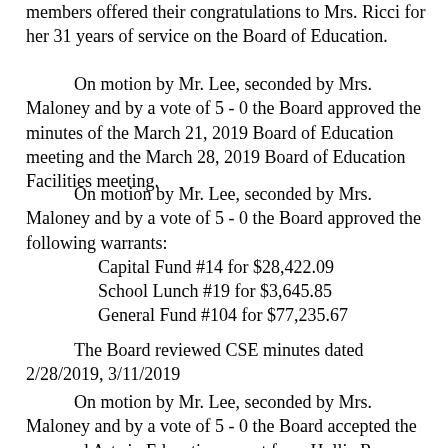members offered their congratulations to Mrs. Ricci for her 31 years of service on the Board of Education.
On motion by Mr. Lee, seconded by Mrs. Maloney and by a vote of 5 - 0 the Board approved the minutes of the March 21, 2019 Board of Education meeting and the March 28, 2019 Board of Education Facilities meeting.
On motion by Mr. Lee, seconded by Mrs. Maloney and by a vote of 5 - 0 the Board approved the following warrants:
Capital Fund #14 for $28,422.09
School Lunch #19 for $3,645.85
General Fund #104 for $77,235.67
The Board reviewed CSE minutes dated 2/28/2019, 3/11/2019
On motion by Mr. Lee, seconded by Mrs. Maloney and by a vote of 5 - 0 the Board accepted the year-end Arts in Education report from Hollie Russo, K-6 and 7-12 Arts in